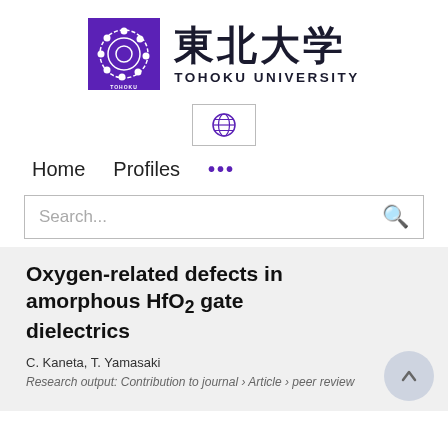[Figure (logo): Tohoku University logo: purple square with white circular design and 'TOHOKU UNIVERSITY' text, alongside Japanese characters 東北大学 and English 'TOHOKU UNIVERSITY']
[Figure (logo): Globe/language selector icon in a bordered box]
Home   Profiles   ...
Search...
Oxygen-related defects in amorphous HfO₂ gate dielectrics
C. Kaneta, T. Yamasaki
Research output: Contribution to journal › Article › peer review